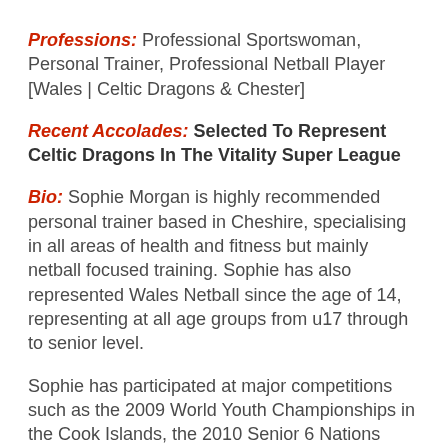Professions: Professional Sportswoman, Personal Trainer, Professional Netball Player [Wales | Celtic Dragons & Chester]
Recent Accolades: Selected To Represent Celtic Dragons In The Vitality Super League
Bio: Sophie Morgan is highly recommended personal trainer based in Cheshire, specialising in all areas of health and fitness but mainly netball focused training. Sophie has also represented Wales Netball since the age of 14, representing at all age groups from u17 through to senior level.
Sophie has participated at major competitions such as the 2009 World Youth Championships in the Cook Islands, the 2010 Senior 6 Nations